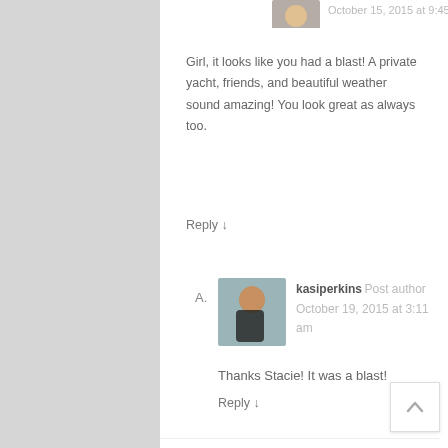[Figure (photo): Small circular avatar photo of a woman, top of page]
October 15, 2015 at 9:45 am
Girl, it looks like you had a blast! A private yacht, friends, and beautiful weather sound amazing! You look great as always too.
Reply ↓
A.
[Figure (photo): Avatar photo of kasiperkins, a woman in a dark top]
kasiperkins  Post author
October 19, 2015 at 3:11 am
Thanks Stacie! It was a blast!
Reply ↓
22. Pingback: Amiclubwear Halloween Costume Review | The Style Perk
23.
[Figure (photo): Grey placeholder avatar silhouette for commenter Taniqua]
Taniqua
October 23, 2015 at 10:36 am